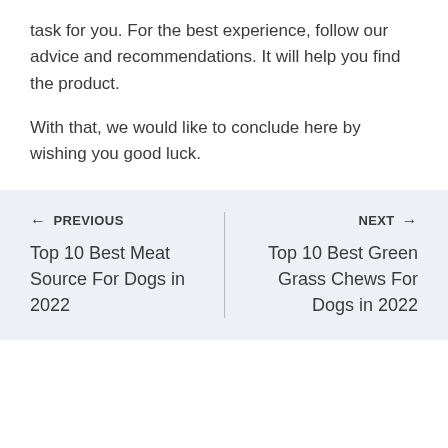task for you. For the best experience, follow our advice and recommendations. It will help you find the product.
With that, we would like to conclude here by wishing you good luck.
← PREVIOUS
Top 10 Best Meat Source For Dogs in 2022
NEXT →
Top 10 Best Green Grass Chews For Dogs in 2022